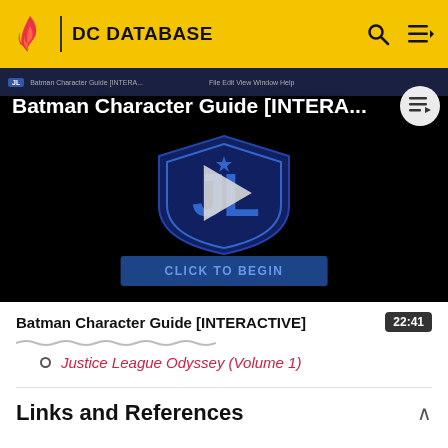DC DATABASE
[Figure (screenshot): Video thumbnail for Batman Character Guide [INTERACTIVE] showing Justice League logo on dark background with play button and 'CLICK TO BEGIN' button]
Batman Character Guide [INTERACTIVE]  22:41
Justice League Odyssey (Volume 1)
Links and References